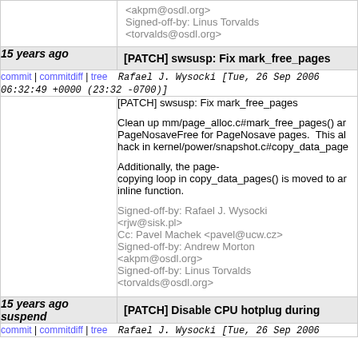Signed-off-by: Linus Torvalds <torvalds@osdl.org>
15 years ago | [PATCH] swsusp: Fix mark_free_pages
commit | commitdiff | tree   Rafael J. Wysocki [Tue, 26 Sep 2006 06:32:49 +0000 (23:32 -0700)]
[PATCH] swsusp: Fix mark_free_pages

Clean up mm/page_alloc.c#mark_free_pages() and set PageNosaveFree for PageNosave pages. This also removes a hack in kernel/power/snapshot.c#copy_data_pages.

Additionally, the page-copying loop in copy_data_pages() is moved to an inline function.

Signed-off-by: Rafael J. Wysocki <rjw@sisk.pl>
Cc: Pavel Machek <pavel@ucw.cz>
Signed-off-by: Andrew Morton <akpm@osdl.org>
Signed-off-by: Linus Torvalds <torvalds@osdl.org>
15 years ago | [PATCH] Disable CPU hotplug during suspend
commit | commitdiff | tree   Rafael J. Wysocki [Tue, 26 Sep 2006 ...